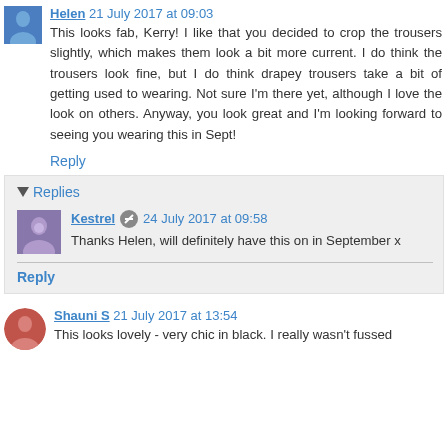Helen 21 July 2017 at 09:03
This looks fab, Kerry! I like that you decided to crop the trousers slightly, which makes them look a bit more current. I do think the trousers look fine, but I do think drapey trousers take a bit of getting used to wearing. Not sure I'm there yet, although I love the look on others. Anyway, you look great and I'm looking forward to seeing you wearing this in Sept!
Reply
Replies
Kestrel 24 July 2017 at 09:58
Thanks Helen, will definitely have this on in September x
Reply
Shauni S 21 July 2017 at 13:54
This looks lovely - very chic in black. I really wasn't fussed